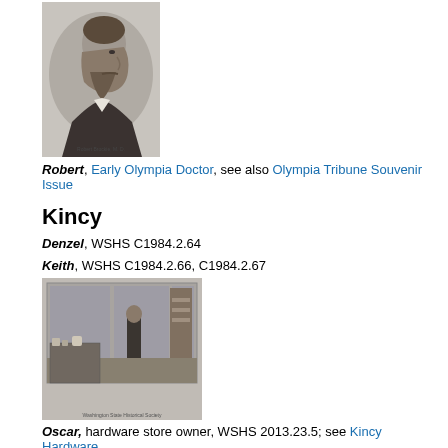[Figure (photo): Black and white portrait illustration of a bearded man in profile, labeled 'Robert Brockie, M.D.' at the bottom]
Robert, Early Olympia Doctor, see also Olympia Tribune Souvenir Issue
Kincy
Denzel, WSHS C1984.2.64
Keith, WSHS C1984.2.66, C1984.2.67
[Figure (photo): Black and white photograph of a hardware store interior with a man standing behind display counters, Washington State Historical Society label at bottom]
Oscar, hardware store owner, WSHS 2013.23.5; see Kincy Hardware